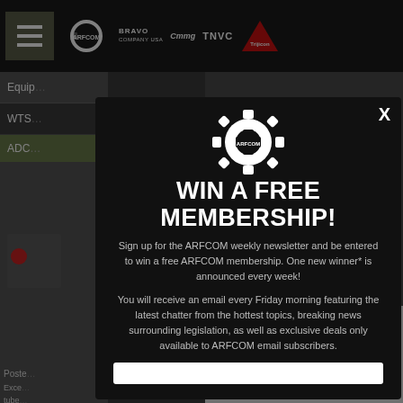[Figure (screenshot): ARFCOM website with modal popup: navigation bar with logos (ARFCOM, Bravo Company USA, CMMG, TNVC, Trijicon), partially visible website content behind a dark modal overlay. Modal shows ARFCOM gear logo, headline 'WIN A FREE MEMBERSHIP!', descriptive text about weekly newsletter, and an email input field at the bottom.]
WIN A FREE MEMBERSHIP!
Sign up for the ARFCOM weekly newsletter and be entered to win a free ARFCOM membership. One new winner* is announced every week!
You will receive an email every Friday morning featuring the latest chatter from the hottest topics, breaking news surrounding legislation, as well as exclusive deals only available to ARFCOM email subscribers.